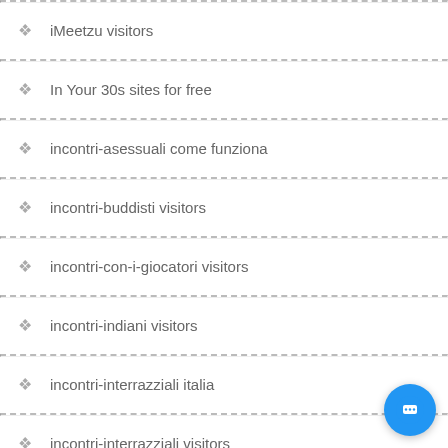iMeetzu visitors
In Your 30s sites for free
incontri-asessuali come funziona
incontri-buddisti visitors
incontri-con-i-giocatori visitors
incontri-indiani visitors
incontri-interrazziali italia
incontri-interrazziali visitors
incontri-lds come funziona
incontri-musicali visitors
incontri-nei-tuoi-30-anni come funziona